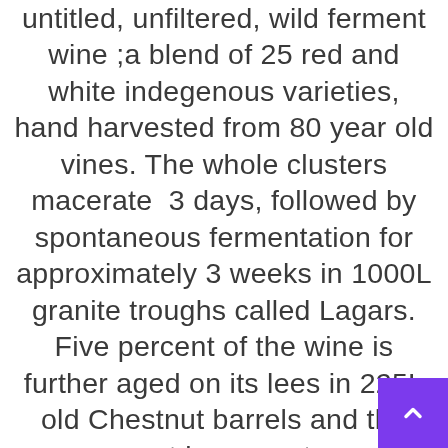untitled, unfiltered, wild ferment wine ;a blend of 25 red and white indegenous varieties, hand harvested from 80 year old vines. The whole clusters macerate  3 days, followed by spontaneous fermentation for approximately 3 weeks in 1000L granite troughs called Lagars. Five percent of the wine is further aged on its lees in 225L old Chestnut barrels and the rest in cement.

There is not a trace of